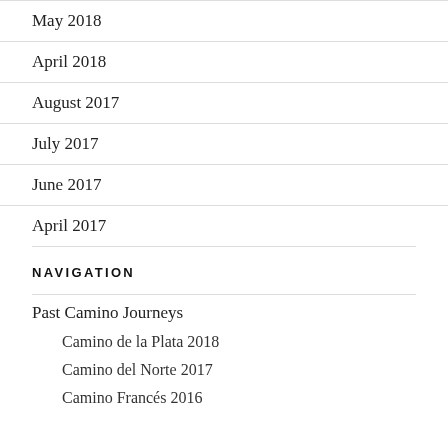May 2018
April 2018
August 2017
July 2017
June 2017
April 2017
NAVIGATION
Past Camino Journeys
Camino de la Plata 2018
Camino del Norte 2017
Camino Francés 2016